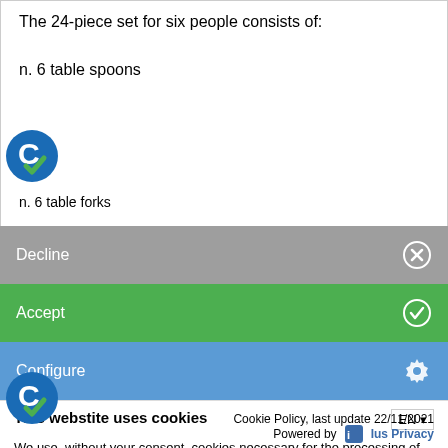The 24-piece set for six people consists of:
n. 6 table spoons
n. 6 table forks
Decline
Accept
Configure
This webstite uses cookies
We use, without your consent, cookies necessary for the processing of statistical and technical analyzes for the use of the site. By closing the Cookie Banner, using the "X" symbol or denying consent, you will continue to browse in the absence of profiling /
Cookie Policy, last update 22/11/2021
Powered by  Ius Privacy